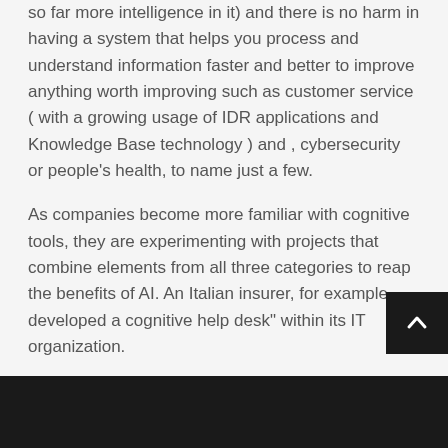so far more intelligence in it) and there is no harm in having a system that helps you process and understand information faster and better to improve anything worth improving such as customer service ( with a growing usage of IDR applications and Knowledge Base technology ) and , cybersecurity or people's health, to name just a few.
As companies become more familiar with cognitive tools, they are experimenting with projects that combine elements from all three categories to reap the benefits of AI. An Italian insurer, for example, developed a cognitive help desk" within its IT organization.
Artificial Intelligence Course